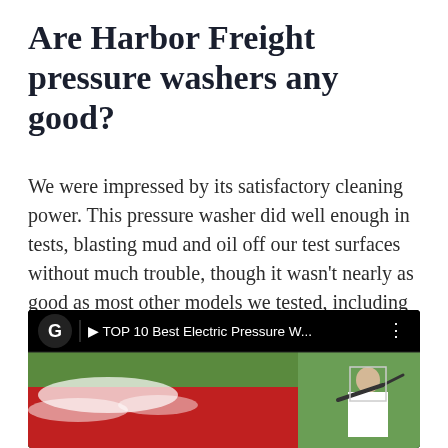Are Harbor Freight pressure washers any good?
We were impressed by its satisfactory cleaning power. This pressure washer did well enough in tests, blasting mud and oil off our test surfaces without much trouble, though it wasn't nearly as good as most other models we tested, including the RYOBI RY14122.
[Figure (screenshot): YouTube video thumbnail showing 'TOP 10 Best Electric Pressure W...' with a G logo on left and a man using a pressure washer on a car, with green foliage background.]